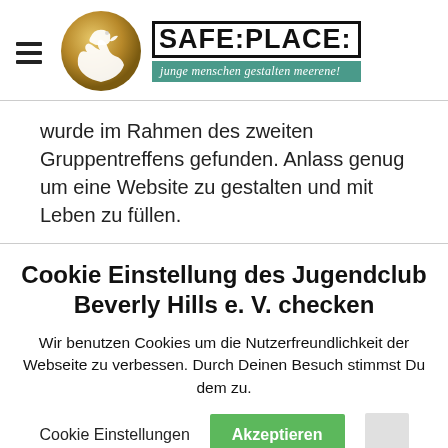SAFE:PLACE: junge menschen gestalten meerene!
wurde im Rahmen des zweiten Gruppentreffens gefunden. Anlass genug um eine Website zu gestalten und mit Leben zu füllen.
Cookie Einstellung des Jugendclub Beverly Hills e. V. checken
Wir benutzen Cookies um die Nutzerfreundlichkeit der Webseite zu verbessen. Durch Deinen Besuch stimmst Du dem zu.
Cookie Einstellungen   Akzeptieren